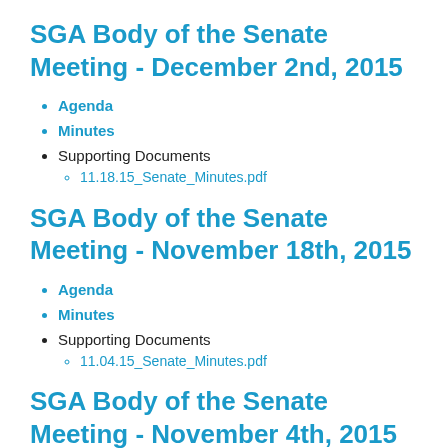SGA Body of the Senate Meeting - December 2nd, 2015
Agenda
Minutes
Supporting Documents
11.18.15_Senate_Minutes.pdf
SGA Body of the Senate Meeting - November 18th, 2015
Agenda
Minutes
Supporting Documents
11.04.15_Senate_Minutes.pdf
SGA Body of the Senate Meeting - November 4th, 2015